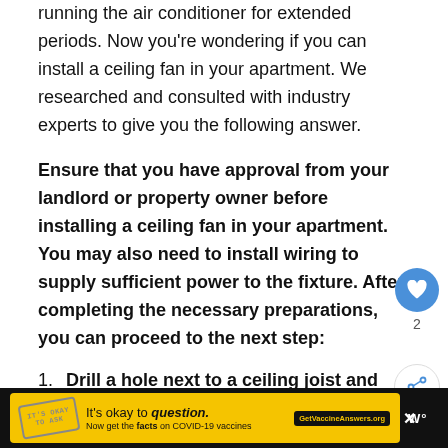running the air conditioner for extended periods. Now you're wondering if you can install a ceiling fan in your apartment. We researched and consulted with industry experts to give you the following answer.
Ensure that you have approval from your landlord or property owner before installing a ceiling fan in your apartment. You may also need to install wiring to supply sufficient power to the fixture. After completing the necessary preparations, you can proceed to the next step:
Drill a hole next to a ceiling joist and run a wire through it.
[Figure (other): Social media sidebar with heart/like button (blue circle, count 2) and share button (white circle with share icon)]
[Figure (other): Advertisement banner: yellow background with stamp graphic, text 'It’s okay to question. Now get the facts on COVID-19 vaccines GetVaccineAnswers.org', close button, and W logo on black background]